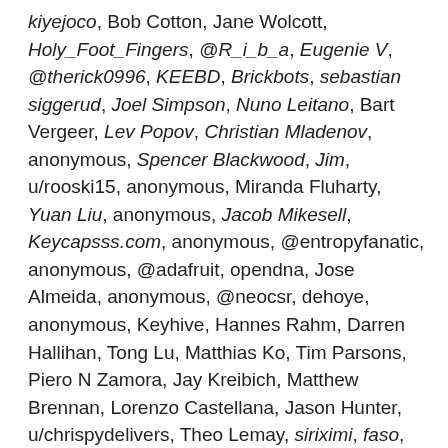kiyejoco, Bob Cotton, Jane Wolcott, Holy_Foot_Fingers, @R_i_b_a, Eugenie V, @therick0996, KEEBD, Brickbots, sebastian siggerud, Joel Simpson, Nuno Leitano, Bart Vergeer, Lev Popov, Christian Mladenov, anonymous, Spencer Blackwood, Jim, u/rooski15, anonymous, Miranda Fluharty, Yuan Liu, anonymous, Jacob Mikesell, Keycapsss.com, anonymous, @entropyfanatic, anonymous, @adafruit, opendna, Jose Almeida, anonymous, @neocsr, dehoye, anonymous, Keyhive, Hannes Rahm, Darren Hallihan, Tong Lu, Matthias Ko, Tim Parsons, Piero N Zamora, Jay Kreibich, Matthew Brennan, Lorenzo Castellana, Jason Hunter, u/chrispydelivers, Theo Lemay, siriximi, faso, _qdw_, Upgrade Keyboards, littlemer-the-second, Jeremy Gam, Davidjohn Gerena, Christian Lo, anonymous,